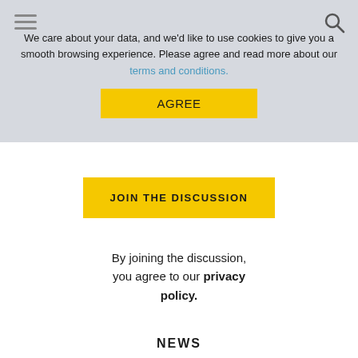We care about your data, and we'd like to use cookies to give you a smooth browsing experience. Please agree and read more about our terms and conditions.
AGREE
JOIN THE DISCUSSION
By joining the discussion, you agree to our privacy policy.
NEWS